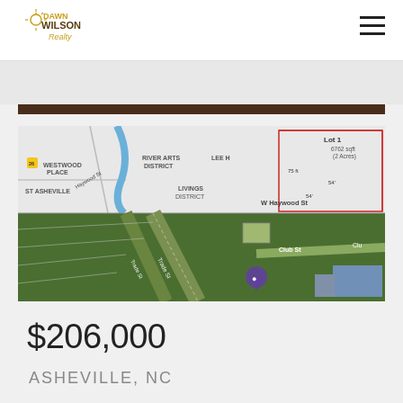[Figure (logo): Dawn Wilson Realty logo with golden text]
[Figure (map): Aerial/map composite showing property near W Haywood St in Asheville NC, with neighborhood labels: Westwood Place, River Arts District, Lee H, ST Asheville, Livings... District. Lot 1 marked with dimensions. Satellite view shows green parcels near Club St.]
$206,000
ASHEVILLE, NC